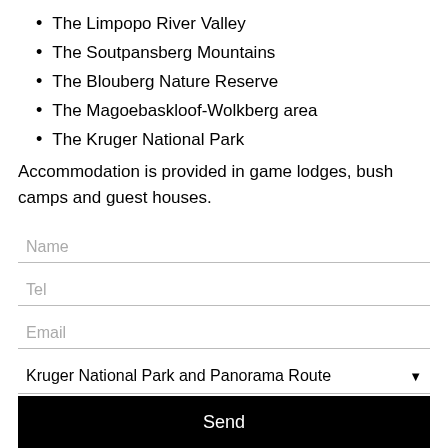The Limpopo River Valley
The Soutpansberg Mountains
The Blouberg Nature Reserve
The Magoebaskloof-Wolkberg area
The Kruger National Park
Accommodation is provided in game lodges, bush camps and guest houses.
Name
Tel
Email
Kruger National Park and Panorama Route
Send